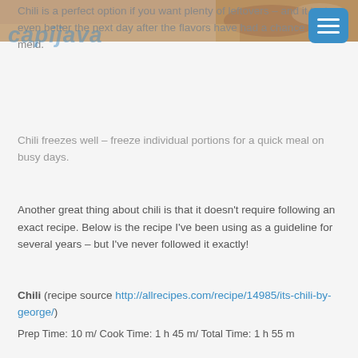[Figure (photo): Photo strip of chili dish at the top of the page]
Chili is a perfect option if you want plenty of leftovers – and it tastes even better the next day after the flavors have had a chance to meld.
Chili freezes well – freeze individual portions for a quick meal on busy days.
Another great thing about chili is that it doesn't require following an exact recipe. Below is the recipe I've been using as a guideline for several years – but I've never followed it exactly!
Chili (recipe source http://allrecipes.com/recipe/14985/its-chili-by-george/)
Prep Time: 10 m/ Cook Time: 1 h 45 m/ Total Time: 1 h 55 m
Makes 10 servings
Ingredients